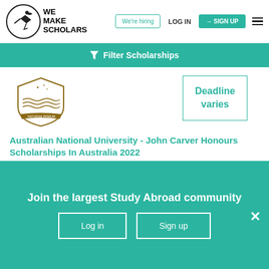[Figure (logo): We Make Scholars logo with circle and figure icon]
We're hiring
LOG IN
SIGN UP
Filter Scholarships
[Figure (logo): Australian National University crest/seal logo]
Deadline varies
Australian National University - John Carver Honours Scholarships In Australia 2022
Bachelors
Partial Funding
Join the largest Study Abroad community
Log in
Sign up